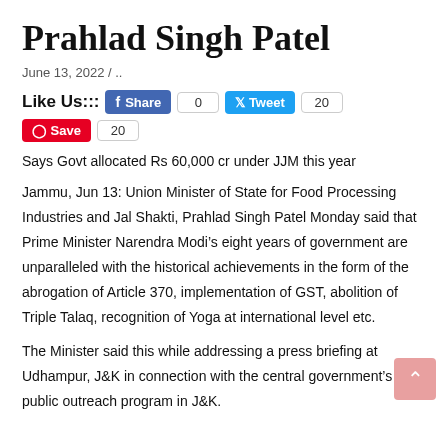Prahlad Singh Patel
June 13, 2022 / ..
Like Us::: [Facebook Share 0] [Twitter Tweet 20] [Pinterest Save 20]
Says Govt allocated Rs 60,000 cr under JJM this year
Jammu, Jun 13: Union Minister of State for Food Processing Industries and Jal Shakti, Prahlad Singh Patel Monday said that Prime Minister Narendra Modi’s eight years of government are unparalleled with the historical achievements in the form of the abrogation of Article 370, implementation of GST, abolition of Triple Talaq, recognition of Yoga at international level etc.
The Minister said this while addressing a press briefing at Udhampur, J&K in connection with the central government’s public outreach program in J&K.